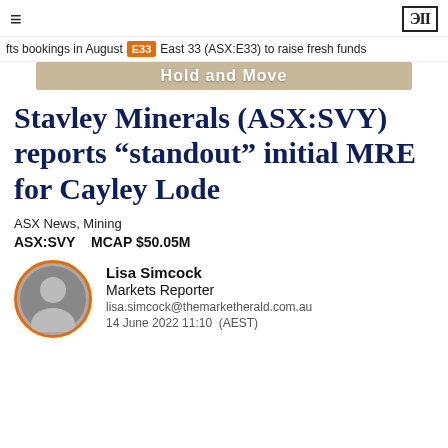≡  ЭII
fts bookings in August  E33  East 33 (ASX:E33) to raise fresh funds
[Figure (illustration): Advertisement banner reading 'Hold and Move' on a tan/beige background]
Stavley Minerals (ASX:SVY) reports “standout” initial MRE for Cayley Lode
ASX News, Mining
ASX:SVY    MCAP $50.05M
Lisa Simcock
Markets Reporter
lisa.simcock@themarketherald.com.au
14 June 2022 11:10  (AEST)